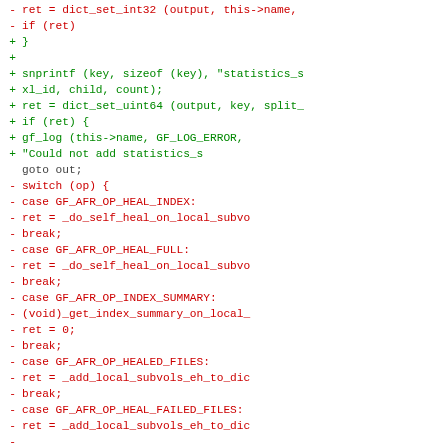diff/patch code block showing removed and added lines in a source code diff for a C file related to AFR (Automatic File Replication) functionality in GlusterFS